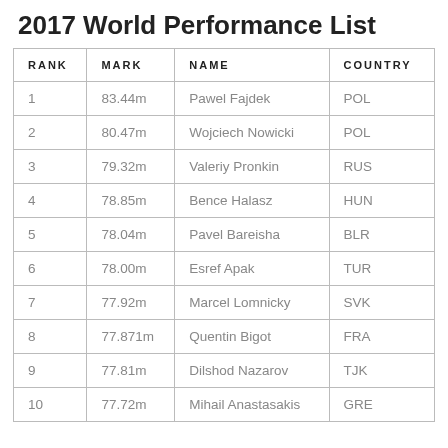2017 World Performance List
| RANK | MARK | NAME | COUNTRY |
| --- | --- | --- | --- |
| 1 | 83.44m | Pawel Fajdek | POL |
| 2 | 80.47m | Wojciech Nowicki | POL |
| 3 | 79.32m | Valeriy Pronkin | RUS |
| 4 | 78.85m | Bence Halasz | HUN |
| 5 | 78.04m | Pavel Bareisha | BLR |
| 6 | 78.00m | Esref Apak | TUR |
| 7 | 77.92m | Marcel Lomnicky | SVK |
| 8 | 77.871m | Quentin Bigot | FRA |
| 9 | 77.81m | Dilshod Nazarov | TJK |
| 10 | 77.72m | Mihail Anastasakis | GRE |